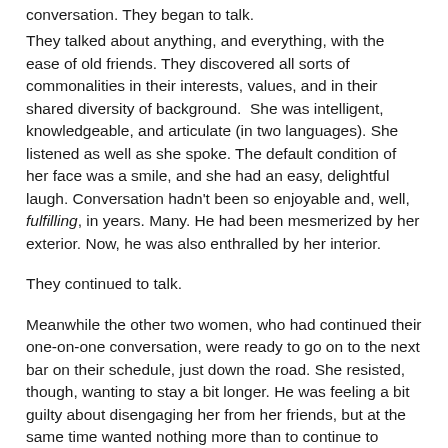conversation.  They began to talk.
They talked about anything, and everything, with the ease of old friends.  They discovered all sorts of commonalities in their interests, values, and in their shared diversity of background.  She was intelligent, knowledgeable, and articulate (in two languages).  She listened as well as she spoke.  The default condition of her face was a smile, and she had an easy, delightful laugh.  Conversation hadn't been so enjoyable and, well, fulfilling, in years. Many.  He had been mesmerized by her exterior.  Now, he was also enthralled by her interior.
They continued to talk.
Meanwhile the other two women, who had continued their one-on-one conversation, were ready to go on to the next bar on their schedule, just down the road.  She resisted, though, wanting to stay a bit longer.  He was feeling a bit guilty about disengaging her from her friends, but at the same time wanted nothing more than to continue to spend time with her, only her.  There was something he was beginning to fantasize about… but he didn't